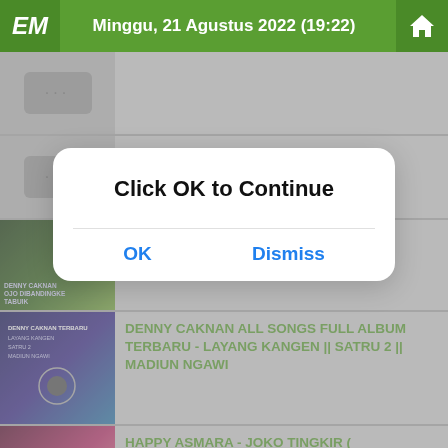Minggu, 21 Agustus 2022 (19:22)
[Figure (screenshot): Thumbnail placeholder with three dots icon, row 1]
[Figure (screenshot): Thumbnail placeholder with three dots icon, row 2]
[Figure (photo): Denny Caknan concert thumbnail - performer on stage]
DENNY CAKNAN feat ABAH LALA - OJO DIBANDINGKE (OFFICIAL LIVE
[Figure (screenshot): Dialog box overlay with text 'Click OK to Continue' and OK / Dismiss buttons]
[Figure (photo): Denny Caknan All Songs album thumbnail]
DENNY CAKNAN ALL SONGS FULL ALBUM TERBARU - LAYANG KANGEN || SATRU 2 || MADIUN NGAWI
[Figure (photo): Happy Asmara Joko Tingkir thumbnail]
HAPPY ASMARA - JOKO TINGKIR ( Official Live Music )